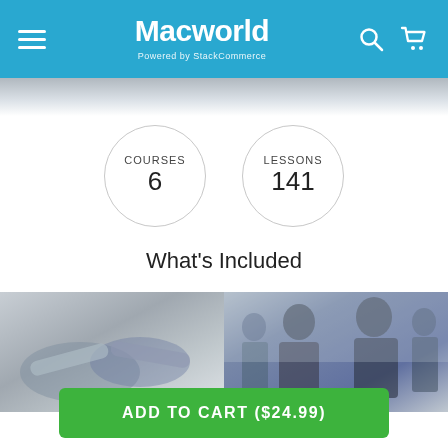Macworld — Powered by StackCommerce
[Figure (infographic): Two circular stat badges: COURSES 6 and LESSONS 141]
What's Included
[Figure (photo): Two business/professional stock photos side by side: left shows a business handshake close-up, right shows business people greeting outdoors]
ADD TO CART ($24.99)